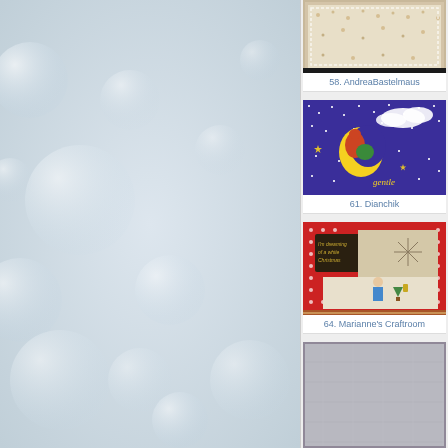[Figure (photo): Left panel with blurred bokeh bubble background in light gray/white tones]
[Figure (photo): Card entry 58 - AndreaBastelmaus: decorative paper card with floral/dot pattern and doily border]
58. AndreaBastelmaus
[Figure (photo): Card entry 61 - Dianchik: blue starry night card with fox/animal sleeping on crescent moon with clouds and stars]
61. Dianchik
[Figure (photo): Card entry 64 - Marianne's Craftroom: Christmas card with red polka dot border, dreaming of white christmas text, and children caroling illustration]
64. Marianne's Craftroom
[Figure (photo): Card entry 67 - partially visible at bottom: gray textured card]